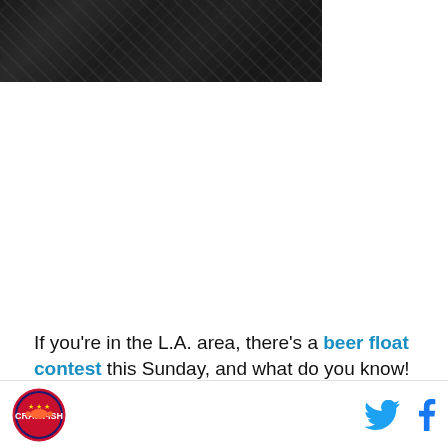[Figure (photo): Dark textured photo showing a close-up of a black mesh or netting material, cropped at the top of the page]
If you're in the L.A. area, there's a beer float contest this Sunday, and what do you know! They're looking for
[Figure (logo): Circular logo with a red fish/crawfish design and text around the border]